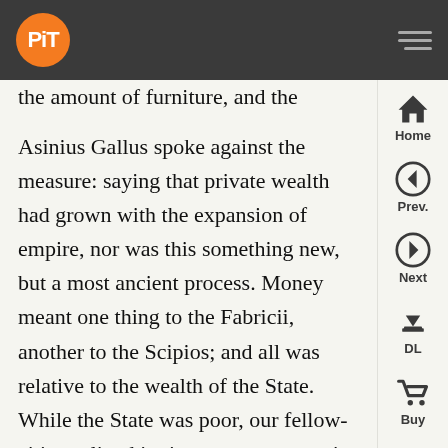PiT logo and navigation bar
the amount of furniture, and the number of servants,.
Asinius Gallus spoke against the measure: saying that private wealth had grown with the expansion of empire, nor was this something new, but a most ancient process. Money meant one thing to the Fabricii, another to the Scipios; and all was relative to the wealth of the State. While the State was poor, our fellow-citizens lived in tiny cottages, once it achieved splendour, the individual also shone. Neither in servants, silver-plate, nor anything obtained for use did excess or